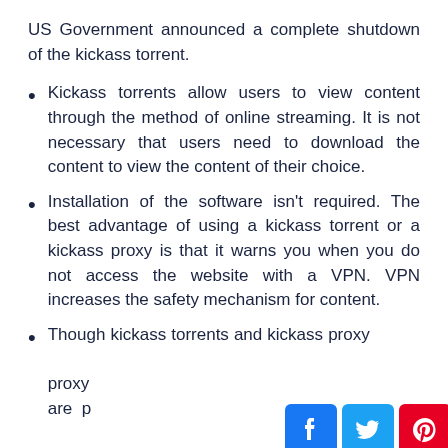US Government announced a complete shutdown of the kickass torrent.
Kickass torrents allow users to view content through the method of online streaming. It is not necessary that users need to download the content to view the content of their choice.
Installation of the software isn't required. The best advantage of using a kickass torrent or a kickass proxy is that it warns you when you do not access the website with a VPN. VPN increases the safety mechanism for content.
Though kickass torrents and kickass proxy … are p…